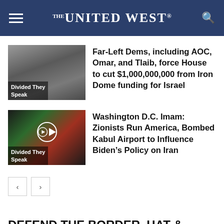THE UNITED WEST
[Figure (photo): Thumbnail image of three women (Divided They Speak label)]
Far-Left Dems, including AOC, Omar, and Tlaib, force House to cut $1,000,000,000 from Iron Dome funding for Israel
[Figure (photo): Thumbnail image with play button and colorful background (Divided They Speak label)]
Washington D.C. Imam: Zionists Run America, Bombed Kabul Airport to Influence Biden’s Policy on Iran
DEFEND THE BORDER, HAT & SHIRT SALE: